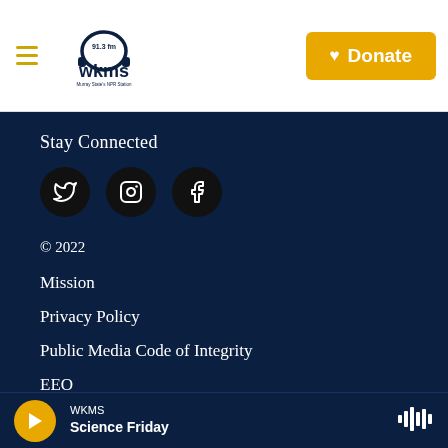[Figure (logo): WKMS 91.3 FM logo with headphones icon and tagline Murray State's NPR Station]
[Figure (other): Donate button with heart icon, gold/amber background]
Stay Connected
[Figure (other): Social media icons: Twitter, Instagram, Facebook - white icons on black circles]
© 2022
Mission
Privacy Policy
Public Media Code of Integrity
EEO
WKMS Science Friday